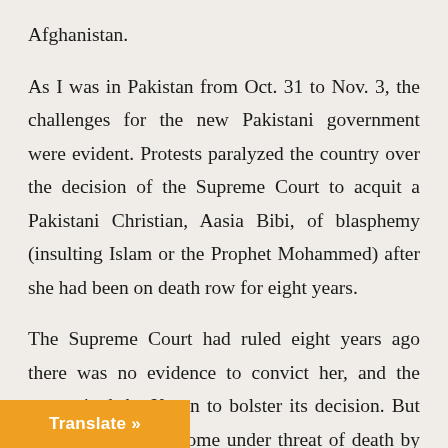Afghanistan.
As I was in Pakistan from Oct. 31 to Nov. 3, the challenges for the new Pakistani government were evident. Protests paralyzed the country over the decision of the Supreme Court to acquit a Pakistani Christian, Aasia Bibi, of blasphemy (insulting Islam or the Prophet Mohammed) after she had been on death row for eight years.
The Supreme Court had ruled eight years ago there was no evidence to convict her, and the court cited the Koran to bolster its decision. But the court has now come under threat of death by the religious extremists [who oppose the ver]erdict.